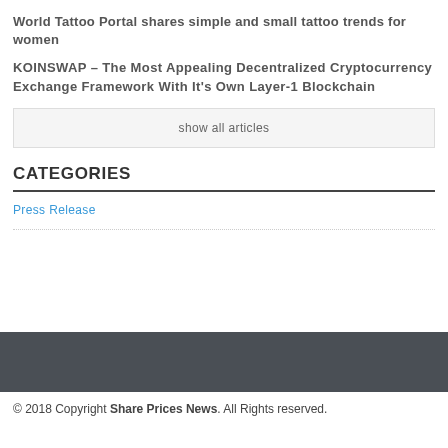World Tattoo Portal shares simple and small tattoo trends for women
KOINSWAP – The Most Appealing Decentralized Cryptocurrency Exchange Framework With It's Own Layer-1 Blockchain
show all articles
CATEGORIES
Press Release
© 2018 Copyright Share Prices News. All Rights reserved.